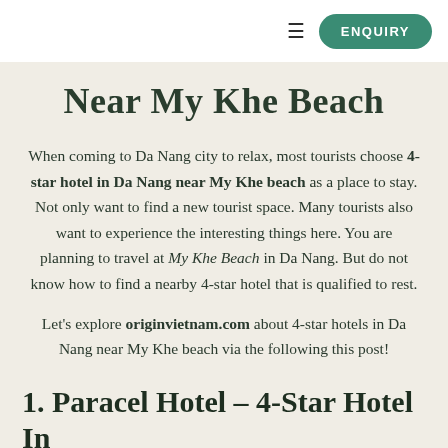ENQUIRY
Near My Khe Beach
When coming to Da Nang city to relax, most tourists choose 4-star hotel in Da Nang near My Khe beach as a place to stay. Not only want to find a new tourist space. Many tourists also want to experience the interesting things here. You are planning to travel at My Khe Beach in Da Nang. But do not know how to find a nearby 4-star hotel that is qualified to rest.
Let’s explore originvietnam.com about 4-star hotels in Da Nang near My Khe beach via the following this post!
1. Paracel Hotel – 4-Star Hotel In